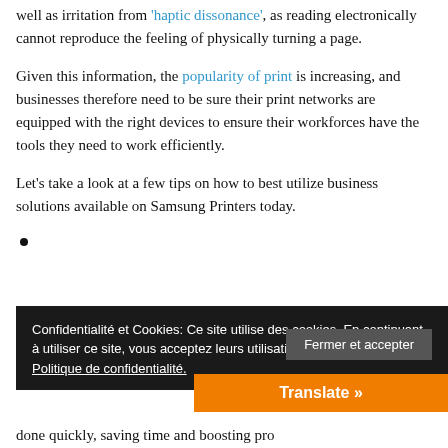well as irritation from 'haptic dissonance', as reading electronically cannot reproduce the feeling of physically turning a page.
Given this information, the popularity of print is increasing, and businesses therefore need to be sure their print networks are equipped with the right devices to ensure their workforces have the tools they need to work efficiently.
Let's take a look at a few tips on how to best utilize business solutions available on Samsung Printers today.
•
Confidentialité et Cookies: Ce site utilise des cookies. En continuant à utiliser ce site, vous acceptez leurs utilisations. Politique de confidentialité.
Fermer et accepter
Translate »
done quickly, saving time and boosting pro...